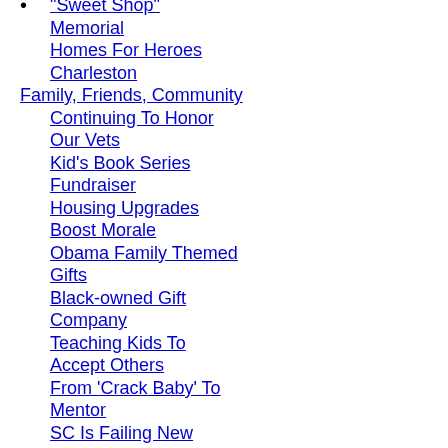"Sweet Shop" Memorial
Homes For Heroes Charleston
Family, Friends, Community
Continuing To Honor Our Vets
Kid's Book Series Fundraiser
Housing Upgrades Boost Morale
Obama Family Themed Gifts
Black-owned Gift Company
Teaching Kids To Accept Others
From 'Crack Baby' To Mentor
SC Is Failing New Parents
Parents: Encourage Discovery
Fertility For Colored Girls